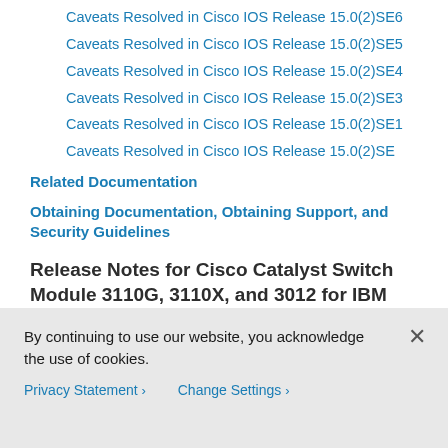Caveats Resolved in Cisco IOS Release 15.0(2)SE6
Caveats Resolved in Cisco IOS Release 15.0(2)SE5
Caveats Resolved in Cisco IOS Release 15.0(2)SE4
Caveats Resolved in Cisco IOS Release 15.0(2)SE3
Caveats Resolved in Cisco IOS Release 15.0(2)SE1
Caveats Resolved in Cisco IOS Release 15.0(2)SE
Related Documentation
Obtaining Documentation, Obtaining Support, and Security Guidelines
Release Notes for Cisco Catalyst Switch Module 3110G, 3110X, and 3012 for IBM BladeCenter, Cisco IOS Release 15.0(2)SE and Later
September 15, 2017
By continuing to use our website, you acknowledge the use of cookies.
Privacy Statement > Change Settings >